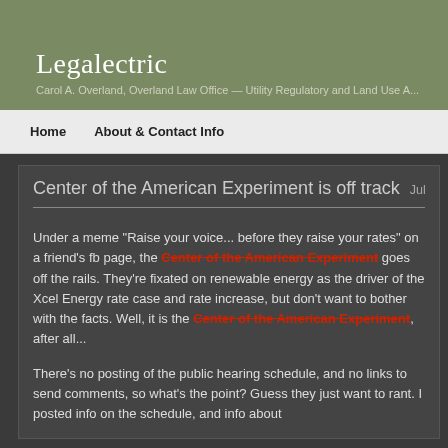Legalectric
Carol A. Overland, Overland Law Office — Utility Regulatory and Land Use A...
Home   About & Contact Info
Center of the American Experiment is off track  July 18th, 2016
Under a meme "Raise your voice... before they raise your rates" on a friend's fb page, the Center of the American Experiment goes off the rails.  They're fixated on renewable energy as the driver of the Xcel Energy rate case and rate increase, but don't want to bother with the facts.  Well, it is the Center of the American Experiment, after all...
There's no posting of the public hearing schedule, and no links to send comments, so what's the point?  Guess they just want to rant.  I posted info on the schedule, and info about